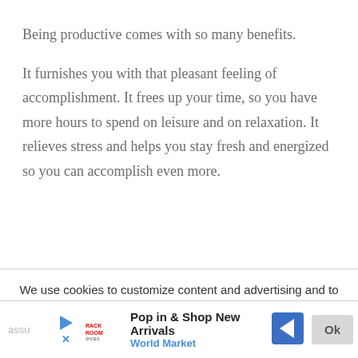Being productive comes with so many benefits.
It furnishes you with that pleasant feeling of accomplishment. It frees up your time, so you have more hours to spend on leisure and on relaxation. It relieves stress and helps you stay fresh and energized so you can accomplish even more.
We use cookies to customize content and advertising and to ensure that we give you the best experience on our website. If you continue to use this site we will
assu   Pop in & Shop New Arrivals   World Market   Ok